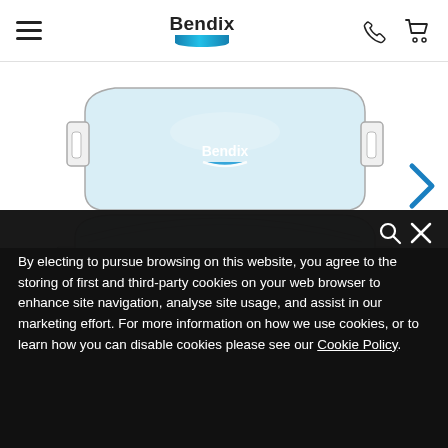Bendix — website header with hamburger menu, Bendix logo, phone icon, and cart icon
[Figure (illustration): Two Bendix brake pads shown in technical illustration style: top pad has mounting tabs and light blue friction material with Bendix logo; bottom pad is curved/arched shape with light blue friction material and Bendix logo. A blue right-arrow chevron appears to the right.]
By electing to pursue browsing on this website, you agree to the storing of first and third-party cookies on your web browser to enhance site navigation, analyse site usage, and assist in our marketing effort. For more information on how we use cookies, or to learn how you can disable cookies please see our Cookie Policy.